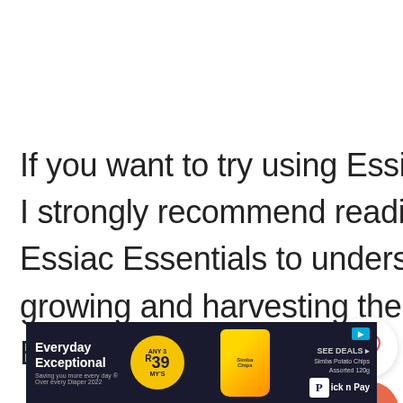If you want to try using Essiac Tea for your own wellness, I strongly recommend reading the book, The Complete Essiac Essentials to understand the nuances of growing and harvesting the herbs for the best quality Essiac Tea.
[Figure (screenshot): Advertisement banner for Pick n Pay grocery store showing 'Everyday Exceptional' tagline, Any 3 for R39 deal, Simba Potato Chips Assorted 120g, and See Deals button]